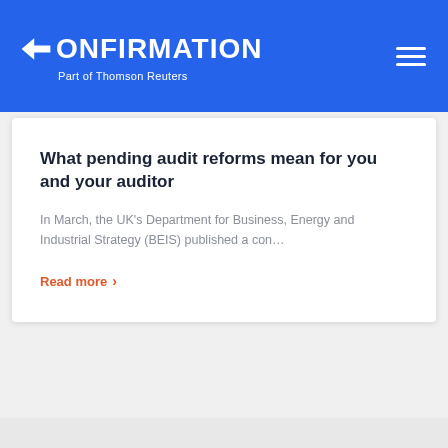CONFIRMATION — Part of Thomson Reuters
What pending audit reforms mean for you and your auditor
In March, the UK's Department for Business, Energy and Industrial Strategy (BEIS) published a con…
Read more